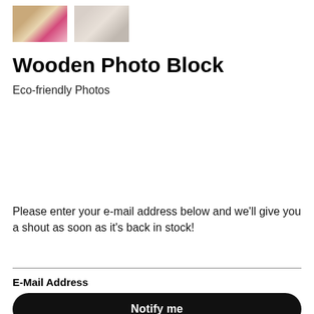[Figure (photo): Two small thumbnail images of wooden photo block products side by side]
Wooden Photo Block
Eco-friendly Photos
Please enter your e-mail address below and we'll give you a shout as soon as it's back in stock!
E-Mail Address
Notify me